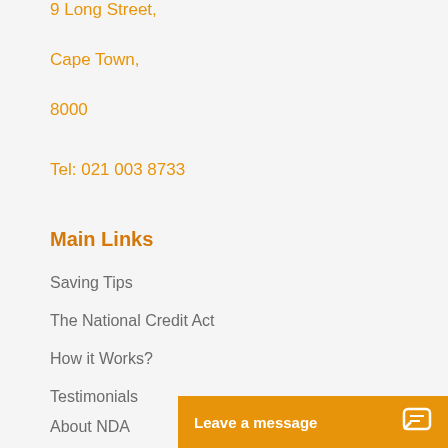9 Long Street,
Cape Town,
8000
Tel: 021 003 8733
Main Links
Saving Tips
The National Credit Act
How it Works?
Testimonials
About NDA
Charity
Leave a message